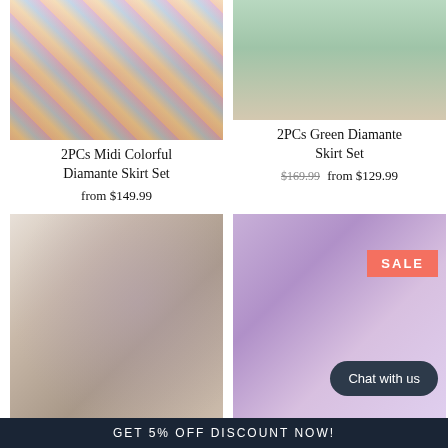[Figure (photo): Close-up of model wearing colorful rainbow pattern midi skirt, cropped at hips and legs]
2PCs Midi Colorful Diamante Skirt Set
from $149.99
[Figure (photo): Model wearing green mini skirt set, cropped at hips and thighs against white background]
2PCs Green Diamante Skirt Set
$169.99  from $129.99
[Figure (photo): Model in sparkly backless dress posed showing back, white background]
[Figure (photo): Model in silver halter backless dress against purple gradient background with SALE badge]
GET 5% OFF DISCOUNT NOW!